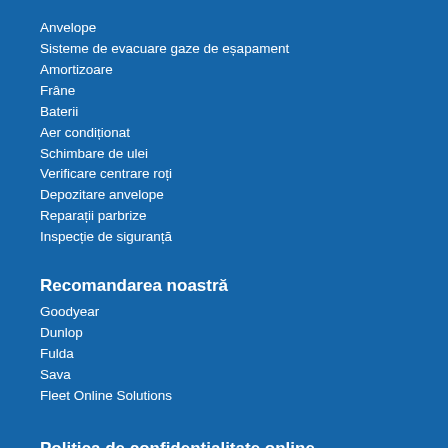Anvelope
Sisteme de evacuare gaze de eșapament
Amortizoare
Frâne
Baterii
Aer condiționat
Schimbare de ulei
Verificare centrare roți
Depozitare anvelope
Reparații parbrize
Inspecție de siguranță
Recomandarea noastră
Goodyear
Dunlop
Fulda
Sava
Fleet Online Solutions
Politica de confidențialitate online